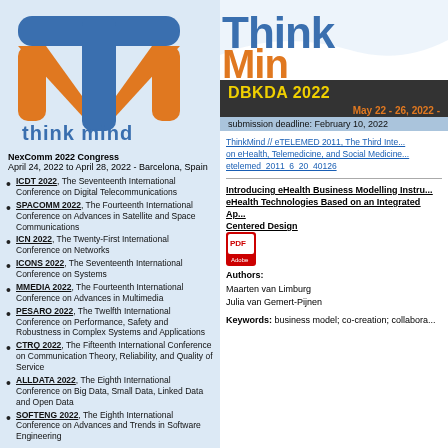[Figure (logo): ThinkMind logo: blue T-shape with orange M underneath, text 'think mind' in blue below]
NexComm 2022 Congress
April 24, 2022 to April 28, 2022 - Barcelona, Spain
ICDT 2022, The Seventeenth International Conference on Digital Telecommunications
SPACOMM 2022, The Fourteenth International Conference on Advances in Satellite and Space Communications
ICN 2022, The Twenty-First International Conference on Networks
ICONS 2022, The Seventeenth International Conference on Systems
MMEDIA 2022, The Fourteenth International Conference on Advances in Multimedia
PESARO 2022, The Twelfth International Conference on Performance, Safety and Robustness in Complex Systems and Applications
CTRQ 2022, The Fifteenth International Conference on Communication Theory, Reliability, and Quality of Service
ALLDATA 2022, The Eighth International Conference on Big Data, Small Data, Linked Data and Open Data
SOFTENG 2022, The Eighth International Conference on Advances and Trends in Software Engineering
[Figure (logo): ThinkMind large text logo: 'Think' in blue, 'Min' (Mind) in orange on white background with wave]
DBKDA 2022
May 22 - 26, 2022 -
submission deadline: February 10, 2022
ThinkMind // eTELEMED 2011, The Third Inte... on eHealth, Telemedicine, and Social Medicine... etelemed_2011_6_20_40126
Introducing eHealth Business Modelling Instru... eHealth Technologies Based on an Integrated Ap... Centered Design
[Figure (illustration): PDF download icon (red Adobe PDF icon)]
Authors:
Maarten van Limburg
Julia van Gemert-Pijnen
Keywords: business model; co-creation; collabora...